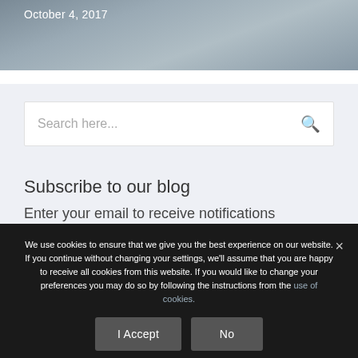[Figure (photo): Partial image of a person with a dark background and overlaid text showing date October 4, 2017]
October 4, 2017
[Figure (screenshot): Search bar with placeholder text 'Search here...' and a search icon on the right]
Subscribe to our blog
Enter your email to receive notifications
We use cookies to ensure that we give you the best experience on our website. If you continue without changing your settings, we'll assume that you are happy to receive all cookies from this website. If you would like to change your preferences you may do so by following the instructions from the use of cookies.
I Accept
No